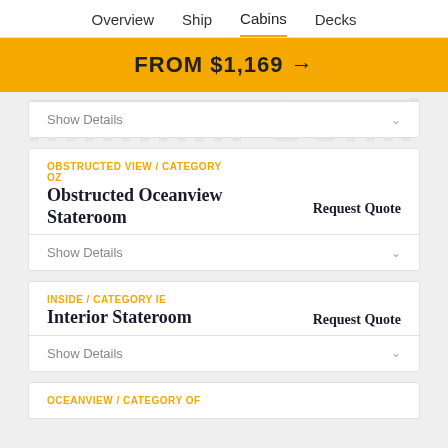Overview  Ship  Cabins  Decks
FROM $1,169 →
Show Details
OBSTRUCTED VIEW / CATEGORY OZ
Obstructed Oceanview Stateroom
Request Quote
Show Details
INSIDE / CATEGORY IE
Interior Stateroom
Request Quote
Show Details
OCEANVIEW / CATEGORY OF